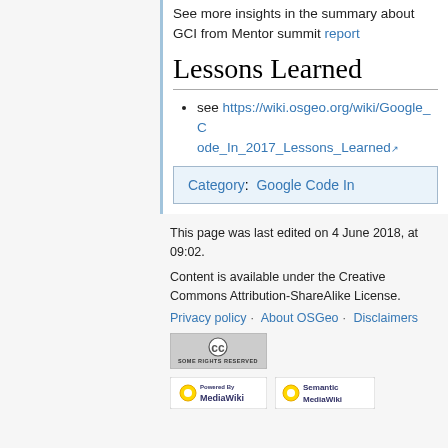See more insights in the summary about GCI from Mentor summit report
Lessons Learned
see https://wiki.osgeo.org/wiki/Google_Code_In_2017_Lessons_Learned
| Category:  Google Code In |
This page was last edited on 4 June 2018, at 09:02.
Content is available under the Creative Commons Attribution-ShareAlike License.
Privacy policy  About OSGeo  Disclaimers
[Figure (logo): Creative Commons Some Rights Reserved badge]
[Figure (logo): Powered by MediaWiki badge]
[Figure (logo): Semantic MediaWiki badge]